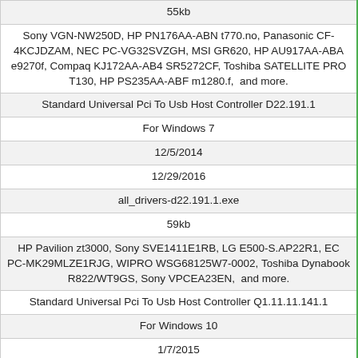| 55kb |
| Sony VGN-NW250D, HP PN176AA-ABN t770.no, Panasonic CF-4KCJDZAM, NEC PC-VG32SVZGH, MSI GR620, HP AU917AA-ABA e9270f, Compaq KJ172AA-AB4 SR5272CF, Toshiba SATELLITE PRO T130, HP PS235AA-ABF m1280.f,  and more. |
| Standard Universal Pci To Usb Host Controller D22.191.1 |
| For Windows 7 |
| 12/5/2014 |
| 12/29/2016 |
| all_drivers-d22.191.1.exe |
| 59kb |
| HP Pavilion zt3000, Sony SVE1411E1RB, LG E500-S.AP22R1, EC PC-MK29MLZE1RJG, WIPRO WSG68125W7-0002, Toshiba Dynabook R822/WT9GS, Sony VPCEA23EN,  and more. |
| Standard Universal Pci To Usb Host Controller Q1.11.11.141.1 |
| For Windows 10 |
| 1/7/2015 |
| 12/28/2016 |
| all_drivers-q1.11.11.141.1.exe |
| 127kb |
| Lenovo ThinkPad X1 Carbon, FIC VA250U, HP S5-1445b, Fujitsu CELSIUS M730powe, Lenovo 1049, IBM 84822RU, HP Pavilion |